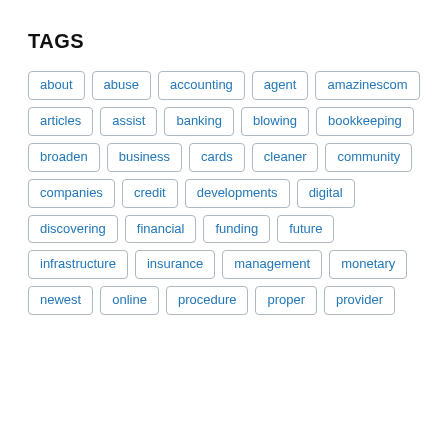TAGS
about
abuse
accounting
agent
amazinescom
articles
assist
banking
blowing
bookkeeping
broaden
business
cards
cleaner
community
companies
credit
developments
digital
discovering
financial
funding
future
infrastructure
insurance
management
monetary
newest
online
procedure
proper
provider